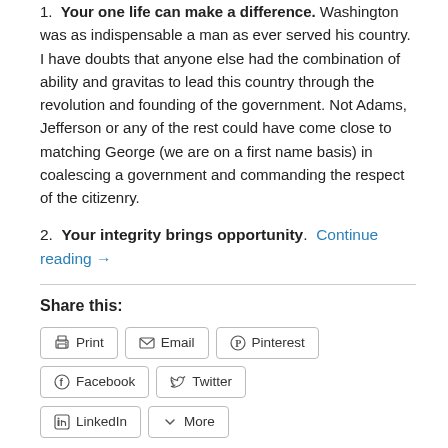1. Your one life can make a difference. Washington was as indispensable a man as ever served his country. I have doubts that anyone else had the combination of ability and gravitas to lead this country through the revolution and founding of the government. Not Adams, Jefferson or any of the rest could have come close to matching George (we are on a first name basis) in coalescing a government and commanding the respect of the citizenry.
2. Your integrity brings opportunity. Continue reading →
Share this:
Print Email Pinterest Facebook Twitter LinkedIn More
Like